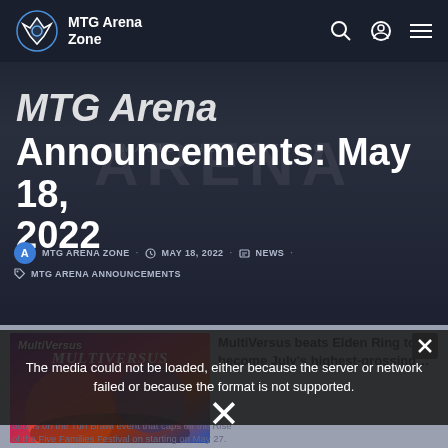MTG Arena Zone
MTG Arena Announcements: May 18, 2022
MTG ARENA ZONE · MAY 18, 2022 · NEWS · MTG ARENA ANNOUNCEMENTS
[Figure (screenshot): MultiVersus game screenshot with colorful characters]
MultiVersus beats Elden Ring to become July's highest-grossing...
The media could not be loaded, either because the server or network failed or because the format is not supported.
details on the Turf Brawl event that caps off the Rise of the Five Families Festival on starting on May 27.